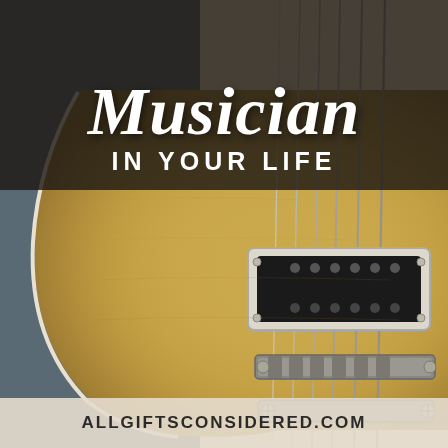[Figure (illustration): Close-up photo of an electric guitar body (Les Paul style) with golden/sunburst finish, showing humbucking pickup, bridge, and tailpiece. Guitar strings run vertically. Background has a dark gray/slate color on the left side. The image fills the entire page.]
Musician IN YOUR LIFE
ALLGIFTSCONSIDERED.COM